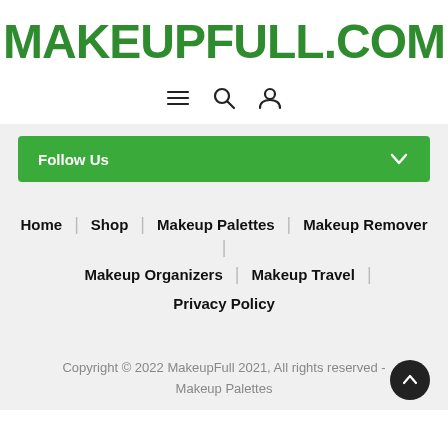MAKEUPFULL.COM
[Figure (other): Navigation icons: hamburger menu, search magnifying glass, user/account person icon]
Follow Us
Home | Shop | Makeup Palettes | Makeup Remover | Makeup Organizers | Makeup Travel | Privacy Policy
Copyright © 2022 MakeupFull 2021, All rights reserved - Makeup Palettes